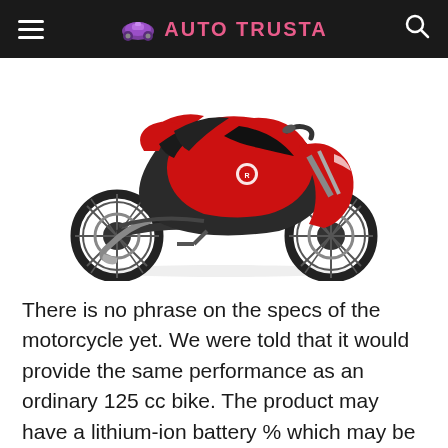AUTO TRUSTA
[Figure (photo): Red and black electric motorcycle (sport bike style) shown in profile view on white background]
There is no phrase on the specs of the motorcycle yet. We were told that it would provide the same performance as an ordinary 125 cc bike. The product may have a lithium-ion battery % which may be swapped. The top-place has been restricted to 85 kmph. While the battery and the electrical motor will